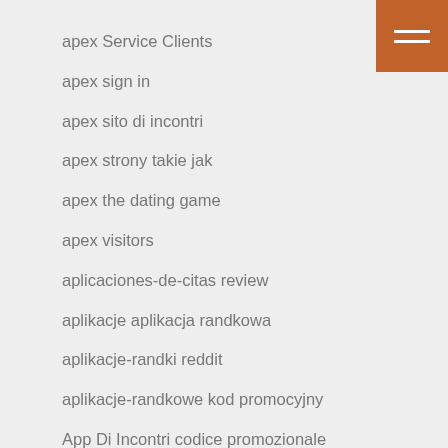apex Service Clients
apex sign in
apex sito di incontri
apex strony takie jak
apex the dating game
apex visitors
aplicaciones-de-citas review
aplikacje aplikacja randkowa
aplikacje-randki reddit
aplikacje-randkowe kod promocyjny
App Di Incontri codice promozionale
app-di-incontri dating
app-di-incontri visitors
[Figure (other): Hamburger menu icon with three white horizontal lines on an orange-brown square background, positioned in the top-right corner]